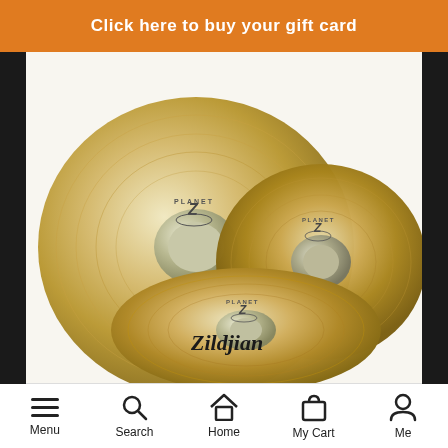Click here to buy your gift card
[Figure (photo): Photo of three Zildjian Planet Z cymbals arranged in an overlapping display against a white background, with black side borders. The cymbals are gold/bronze colored with Planet Z branding and Zildjian logo visible.]
Menu | Search | Home | My Cart | Me